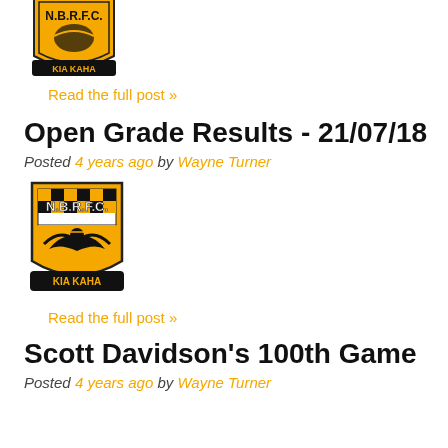[Figure (logo): NBRFC club logo with eagle/hawk and 'KIA KAHA' banner, orange, black and gold shield]
Read the full post »
Open Grade Results - 21/07/18
Posted 4 years ago by Wayne Turner
[Figure (logo): NBRFC club logo with eagle/hawk and 'KIA KAHA' banner, orange, black and gold shield]
Read the full post »
Scott Davidson's 100th Game
Posted 4 years ago by Wayne Turner